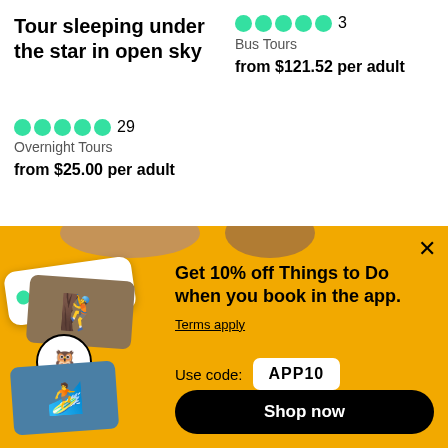Tour sleeping under the star in open sky
⬤⬤⬤⬤⬤ 29
Overnight Tours
from $25.00 per adult
⬤⬤⬤⬤⬤ 3
Bus Tours
from $121.52 per adult
Cultural & Theme Tours
See all
[Figure (screenshot): Yellow promotional banner for TripAdvisor app discount. Shows phone mockup with green dots, TripAdvisor owl logo, photo cards with hiker and surfer. Text: 'Get 10% off Things to Do when you book in the app. Terms apply. Use code: APP10'. Black Shop now button. X close button.]